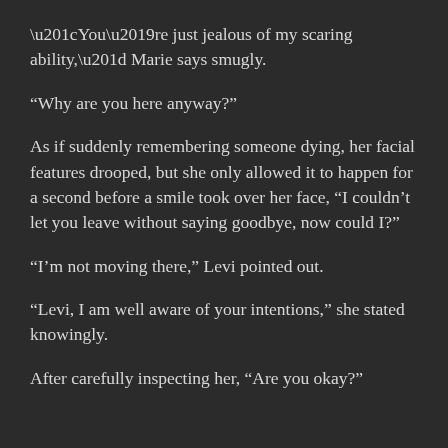“You’re just jealous of my scaring ability,” Marie says smugly.
“Why are you here anyway?”
As if suddenly remembering someone dying, her facial features drooped, but she only allowed it to happen for a second before a smile took over her face, “I couldn’t let you leave without saying goodbye, now could I?”
“I’m not moving there,” Levi pointed out.
“Levi, I am well aware of your intentions,” she stated knowingly.
After carefully inspecting her, “Are you okay?”